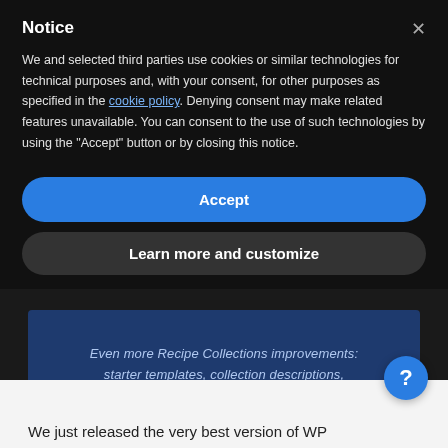Notice
We and selected third parties use cookies or similar technologies for technical purposes and, with your consent, for other purposes as specified in the cookie policy. Denying consent may make related features unavailable. You can consent to the use of such technologies by using the "Accept" button or by closing this notice.
Accept
Learn more and customize
Even more Recipe Collections improvements: starter templates, collection descriptions, quick add for saved collections, ...
We just released the very best version of WP